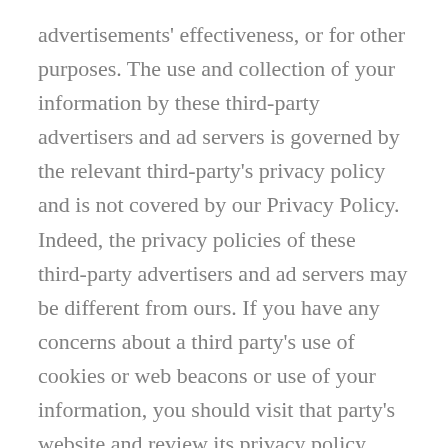advertisements' effectiveness, or for other purposes. The use and collection of your information by these third-party advertisers and ad servers is governed by the relevant third-party's privacy policy and is not covered by our Privacy Policy. Indeed, the privacy policies of these third-party advertisers and ad servers may be different from ours. If you have any concerns about a third party's use of cookies or web beacons or use of your information, you should visit that party's website and review its privacy policy.
The Site also includes links to other websites and provides access to products and services offered by third parties, whose privacy policies